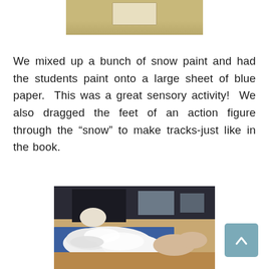[Figure (photo): Top partial photo of a classroom table scene with a yellow/tan surface and a white/light colored container visible]
We mixed up a bunch of snow paint and had the students paint onto a large sheet of blue paper.  This was a great sensory activity!  We also dragged the feet of an action figure through the “snow” to make tracks-just like in the book.
[Figure (photo): Photo of children’s hands spreading white foamy snow paint on a blue sheet of paper on a wooden table. A child in a black shirt is visible in the background.]